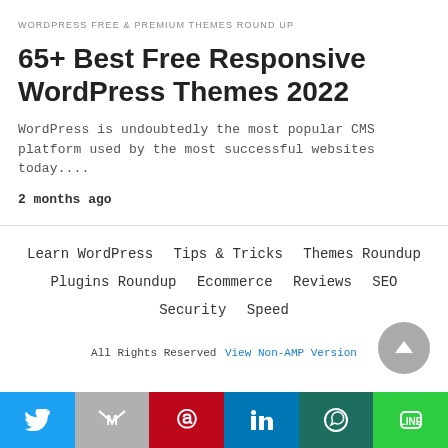WORDPRESS FREE & PREMIUM THEMES ROUND UP
65+ Best Free Responsive WordPress Themes 2022
WordPress is undoubtedly the most popular CMS platform used by the most successful websites today....
2 months ago
Learn WordPress
Tips & Tricks
Themes Roundup
Plugins Roundup
Ecommerce
Reviews
SEO
Security
Speed
All Rights Reserved  View Non-AMP Version